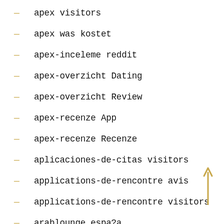apex visitors
apex was kostet
apex-inceleme reddit
apex-overzicht Dating
apex-overzicht Review
apex-recenze App
apex-recenze Recenze
aplicaciones-de-citas visitors
applications-de-rencontre avis
applications-de-rencontre visitors
arablounge espa?a
arablounge funziona